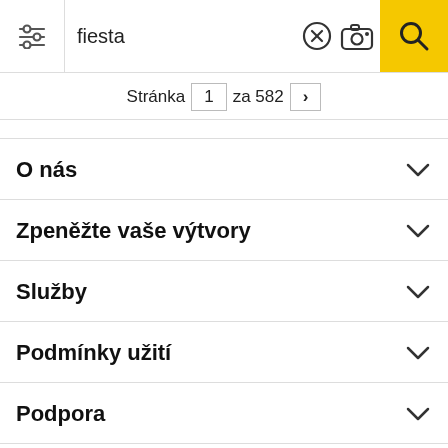[Figure (screenshot): Search bar with filter icon, search text 'fiesta', clear button, camera button, and yellow search button]
Stránka 1 za 582 >
O nás
Zpeněžte vaše výtvory
Služby
Podmínky užití
Podpora
[Figure (illustration): Social media icons row: Discord, Facebook, Twitter, Instagram, Pinterest, WhatsApp]
Všechna práva vyhrazena. © Inmagine Lab Pte Ltd 2022.